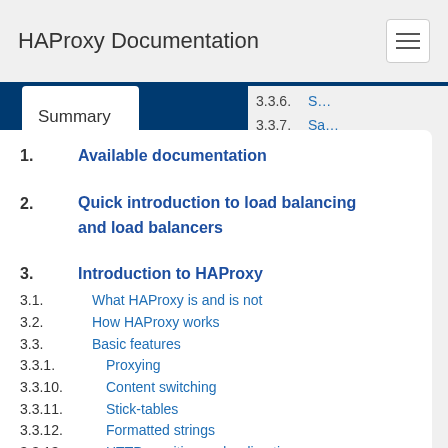HAProxy Documentation
Summary
1. Available documentation
2. Quick introduction to load balancing and load balancers
3. Introduction to HAProxy
3.1. What HAProxy is and is not
3.2. How HAProxy works
3.3. Basic features
3.3.1. Proxying
3.3.10. Content switching
3.3.11. Stick-tables
3.3.12. Formatted strings
3.3.13. HTTP rewriting and redirection
3.3.14. Server protection
3.3.15. Logging
3.3.16. Statistics
3.3.6. S…
3.3.7. Sa…
3.3.8. M…
3.3.9. Ac…
3.4. Adva…
3.4.1. M…
3.4.2. Sy…
3.4.3. Se…
3.4.4. Ac…
3.5. Sizin…
3.6. How…
4. Compa…
4.1. Apac…
4.2. NGIN…
4.3. Varn…
4.4. Alter…
5. Contac…